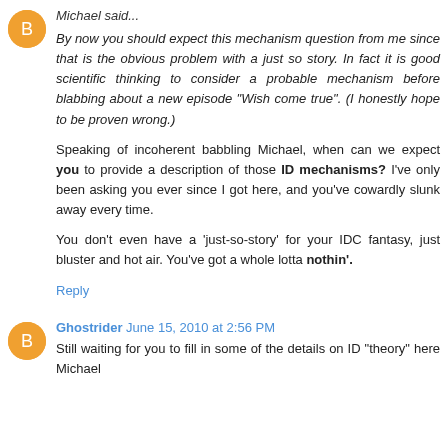Michael said...
By now you should expect this mechanism question from me since that is the obvious problem with a just so story. In fact it is good scientific thinking to consider a probable mechanism before blabbing about a new episode "Wish come true". (I honestly hope to be proven wrong.)
Speaking of incoherent babbling Michael, when can we expect you to provide a description of those ID mechanisms? I've only been asking you ever since I got here, and you've cowardly slunk away every time.
You don't even have a 'just-so-story' for your IDC fantasy, just bluster and hot air. You've got a whole lotta nothin'.
Reply
Ghostrider June 15, 2010 at 2:56 PM
Still waiting for you to fill in some of the details on ID "theory" here Michael